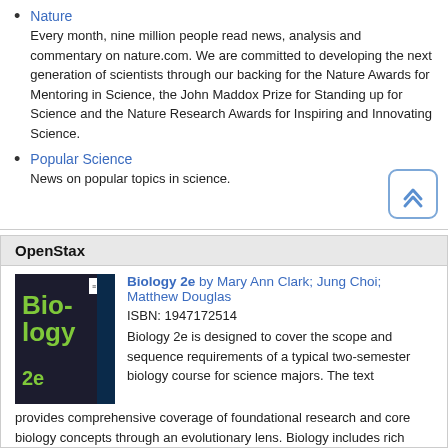Nature
Every month, nine million people read news, analysis and commentary on nature.com. We are committed to developing the next generation of scientists through our backing for the Nature Awards for Mentoring in Science, the John Maddox Prize for Standing up for Science and the Nature Research Awards for Inspiring and Innovating Science.
Popular Science
News on popular topics in science.
OpenStax
[Figure (photo): Book cover of Biology 2e, dark background with green text showing 'Bio-logy 2e']
Biology 2e by Mary Ann Clark; Jung Choi; Matthew Douglas
ISBN: 1947172514
Biology 2e is designed to cover the scope and sequence requirements of a typical two-semester biology course for science majors. The text provides comprehensive coverage of foundational research and core biology concepts through an evolutionary lens. Biology includes rich features that engage students in scientific inquiry, highlight careers in